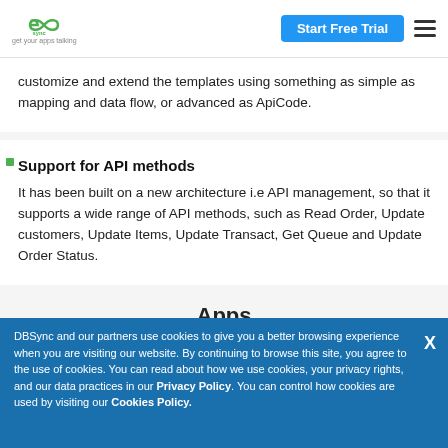DBSync — get your apps talking | Start Free Trial
customize and extend the templates using something as simple as mapping and data flow, or advanced as ApiCode.
Support for API methods
It has been built on a new architecture i.e API management, so that it supports a wide range of API methods, such as Read Order, Update customers, Update Items, Update Transact, Get Queue and Update Order Status.
Apps
Search for our Connected Apps and Pre-Built Solutions List
DBSync and our partners use cookies to give you a better browsing experience when you are visiting our website. By continuing to browse this site, you agree to the use of cookies. You can read about how we use cookies, your privacy rights, and our data practices in our Privacy Policy. You can control how cookies are used by visiting our Cookies Policy.